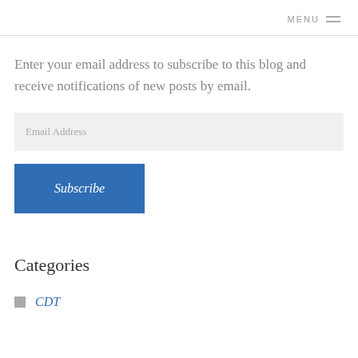MENU
Enter your email address to subscribe to this blog and receive notifications of new posts by email.
Email Address
Subscribe
Categories
CDT